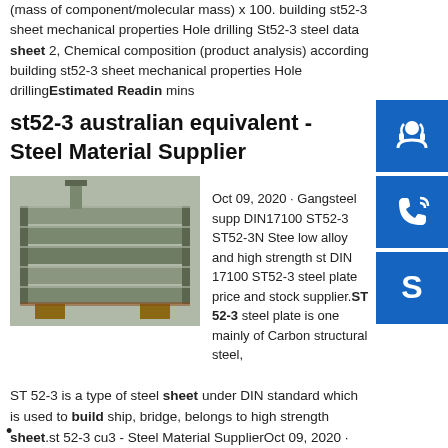(mass of component/molecular mass) x 100. building st52-3 sheet mechanical properties Hole drilling St52-3 steel data sheet 2, Chemical composition (product analysis) according building st52-3 sheet mechanical properties Hole drilling Estimated Reading mins
st52-3 australian equivalent - Steel Material Supplier
[Figure (photo): Stack of steel plates/sheets stored outdoors]
Oct 09, 2020 · Gangsteel supp DIN17100 ST52-3 ST52-3N Stee low alloy and high strength st DIN 17100 ST52-3 steel plate price and stock supplier.ST 52-3 steel plate is one mainly of Carbon structural steel,
ST 52-3 is a type of steel sheet under DIN standard which is used to build ship, bridge, belongs to high strength sheet.st 52-3 cu3 - Steel Material SupplierOct 09, 2020 · The affect DIN 17100 ST 52-3 guidelines of machining parameters of 342 nm femtosecond laser beam drilling, such as the feed distance of laser spot, scanning